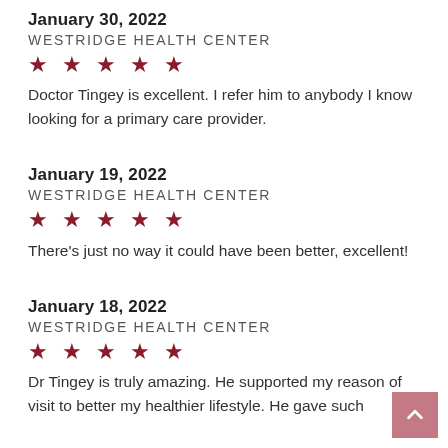January 30, 2022
WESTRIDGE HEALTH CENTER
★ ★ ★ ★ ★
Doctor Tingey is excellent. I refer him to anybody I know looking for a primary care provider.
January 19, 2022
WESTRIDGE HEALTH CENTER
★ ★ ★ ★ ★
There's just no way it could have been better, excellent!
January 18, 2022
WESTRIDGE HEALTH CENTER
★ ★ ★ ★ ★
Dr Tingey is truly amazing. He supported my reason of visit to better my healthier lifestyle. He gave such